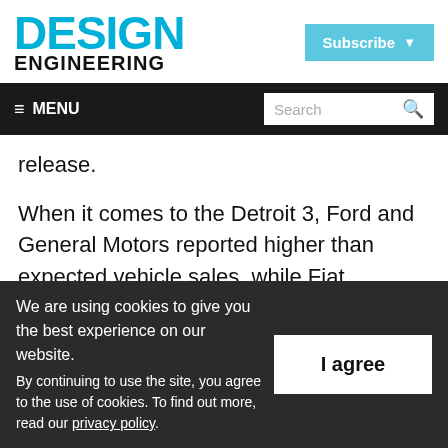DESIGN ENGINEERING — Subscribe
≡ MENU — Search
release.
When it comes to the Detroit 3, Ford and General Motors reported higher than expected vehicle sales, while Fiat Chrysler's September sales figures plunged by 18 percent. FCA
We are using cookies to give you the best experience on our website. By continuing to use the site, you agree to the use of cookies. To find out more, read our privacy policy.